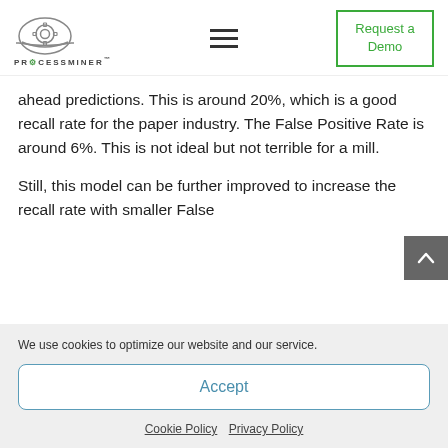[Figure (logo): ProcessMiner logo with gear/helmet icon and text PROCESSMINER]
ahead predictions. This is around 20%, which is a good recall rate for the paper industry. The False Positive Rate is around 6%. This is not ideal but not terrible for a mill.
Still, this model can be further improved to increase the recall rate with smaller False
We use cookies to optimize our website and our service.
Accept
Cookie Policy   Privacy Policy